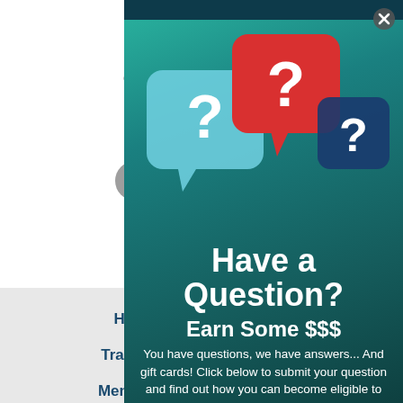Te
914
[Figure (illustration): Facebook logo icon (gray circle with white 'f')]
Home
Trainings
Mentoring
Memberships
[Figure (illustration): Three speech bubble icons with question marks (light blue, red, dark blue) on a teal background overlay. A close (X) button is in the top right.]
Have a Question?
Earn Some $$$
You have questions, we have answers... And gift cards! Click below to submit your question and find out how you can become eligible to